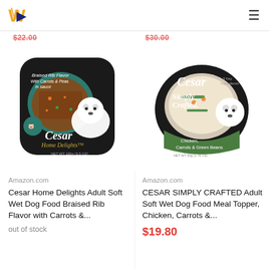[Figure (logo): W logo in orange and dark navy, hamburger menu icon on right]
$22.00 (struck through, partial) | $30.00 (struck through, partial)
[Figure (photo): Cesar Home Delights Adult Soft Wet Dog Food - Braised Rib Flavor with Carrots & Peas in Sauce, tray packaging with Westie dog image]
[Figure (photo): Cesar Simply Crafted Adult Soft Wet Dog Food Meal Topper - Chicken, Carrots & Green Beans, round tray packaging with Westie dog image]
Amazon.com
Cesar Home Delights Adult Soft Wet Dog Food Braised Rib Flavor with Carrots &...
out of stock
Amazon.com
CESAR SIMPLY CRAFTED Adult Soft Wet Dog Food Meal Topper, Chicken, Carrots &...
$19.80